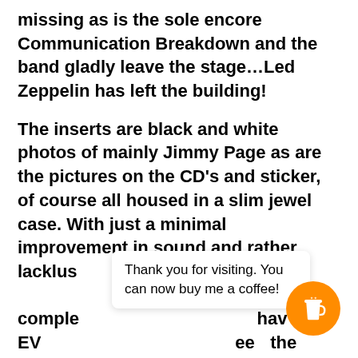missing as is the sole encore Communication Breakdown and the band gladly leave the stage…Led Zeppelin has left the building!
The inserts are black and white photos of mainly Jimmy Page as are the pictures on the CD's and sticker, of course all housed in a slim jewel case. With just a minimal improvement in sound and rather lacklus[ter packaging not] for comple[tists who already] hav[e] the EV[...] ee[...] the investment.
Thank you for visiting. You can now buy me a coffee!